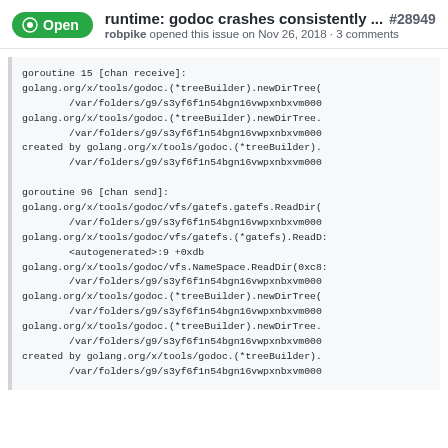runtime: godoc crashes consistently ... #28949
robpike opened this issue on Nov 26, 2018 · 3 comments
goroutine 15 [chan receive]:
golang.org/x/tools/godoc.(*treeBuilder).newDirTree(
        /var/folders/g9/s3yf6f1n54bgn16vwpxnbxvm000
golang.org/x/tools/godoc.(*treeBuilder).newDirTree.
        /var/folders/g9/s3yf6f1n54bgn16vwpxnbxvm000
created by golang.org/x/tools/godoc.(*treeBuilder).
        /var/folders/g9/s3yf6f1n54bgn16vwpxnbxvm000

goroutine 96 [chan send]:
golang.org/x/tools/godoc/vfs/gatefs.gatefs.ReadDir(
        /var/folders/g9/s3yf6f1n54bgn16vwpxnbxvm000
golang.org/x/tools/godoc/vfs/gatefs.(*gatefs).ReadD:
        <autogenerated>:9 +0xdb
golang.org/x/tools/godoc/vfs.NameSpace.ReadDir(0xc8:
        /var/folders/g9/s3yf6f1n54bgn16vwpxnbxvm000
golang.org/x/tools/godoc.(*treeBuilder).newDirTree(
        /var/folders/g9/s3yf6f1n54bgn16vwpxnbxvm000
golang.org/x/tools/godoc.(*treeBuilder).newDirTree.
        /var/folders/g9/s3yf6f1n54bgn16vwpxnbxvm000
created by golang.org/x/tools/godoc.(*treeBuilder).
        /var/folders/g9/s3yf6f1n54bgn16vwpxnbxvm000